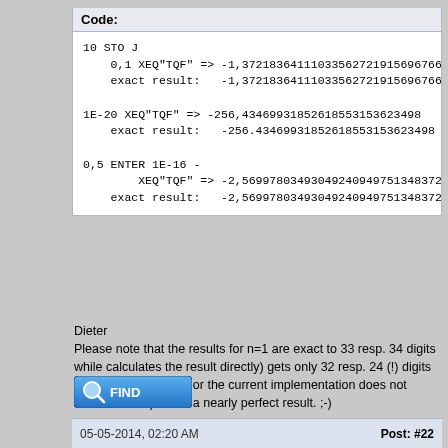Code:
10 STO J
    0,1 XEQ"TQF" => -1,37218364111033562721915696766
    exact result:    -1,37218364111033562721915696766

1E-20 XEQ"TQF" => -256,43469931852618553153623498
    exact result:    -256.43469931852618553153623498

0,5 ENTER 1E-16 -
         XEQ"TQF" => -2,56997803493049240949751348372
    exact result:    -2,56997803493049240949751348372
Please note that the results for n=1 are exact to 33 resp. 34 digits while calculates the result directly) gets only 32 resp. 24 (!) digits right. Either accurate or the current implementation does not evaluate the quantile a nearly perfect result. ;-)
Dieter
[Figure (other): FIND button]
05-05-2014, 02:20 AM    Post: #22